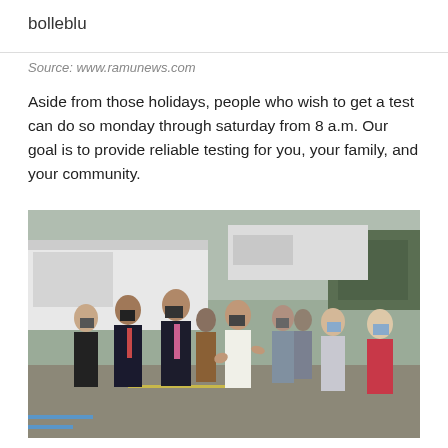bolleblu
Source: www.ramunews.com
Aside from those holidays, people who wish to get a test can do so monday through saturday from 8 a.m. Our goal is to provide reliable testing for you, your family, and your community.
[Figure (photo): Group of people in masks standing in a parking lot outdoors, near a large white truck. Several officials and community members appear to be having a discussion at what looks like a COVID-19 testing site event.]